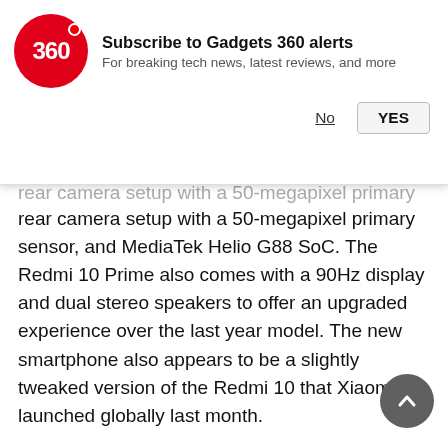[Figure (logo): Gadgets 360 red circular logo with '360' text]
Subscribe to Gadgets 360 alerts
For breaking tech news, latest reviews, and more
No   YES
rear camera setup with a 50-megapixel primary sensor, and MediaTek Helio G88 SoC. The Redmi 10 Prime also comes with a 90Hz display and dual stereo speakers to offer an upgraded experience over the last year model. The new smartphone also appears to be a slightly tweaked version of the Redmi 10 that Xiaomi launched globally last month.
Redmi 10 Prime price in India, availability details
Redmi 10 Prime price in India has been set at Rs. 12,499 for the 4GB RAM + 64GB storage variant. The phone also has a 6GB RAM + 128GB storage option